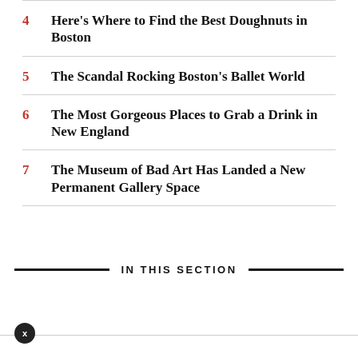4 Here's Where to Find the Best Doughnuts in Boston
5 The Scandal Rocking Boston's Ballet World
6 The Most Gorgeous Places to Grab a Drink in New England
7 The Museum of Bad Art Has Landed a New Permanent Gallery Space
IN THIS SECTION